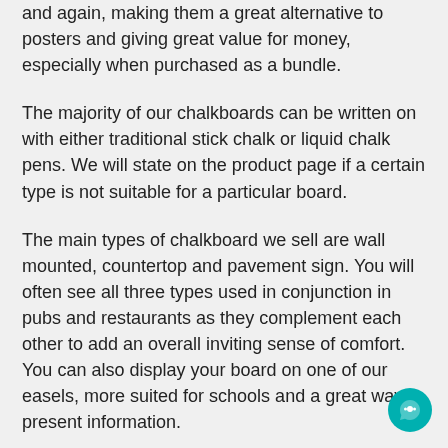and again, making them a great alternative to posters and giving great value for money, especially when purchased as a bundle.
The majority of our chalkboards can be written on with either traditional stick chalk or liquid chalk pens. We will state on the product page if a certain type is not suitable for a particular board.
The main types of chalkboard we sell are wall mounted, countertop and pavement sign. You will often see all three types used in conjunction in pubs and restaurants as they complement each other to add an overall inviting sense of comfort. You can also display your board on one of our easels, more suited for schools and a great way to present information.
Aside from the traditional square or rectangle chalkboards, we also have a range of shaped boards including circular, arrow-shaped and animal shaped. These are a great way to show a bit of individuality and creativity when presenting your message.